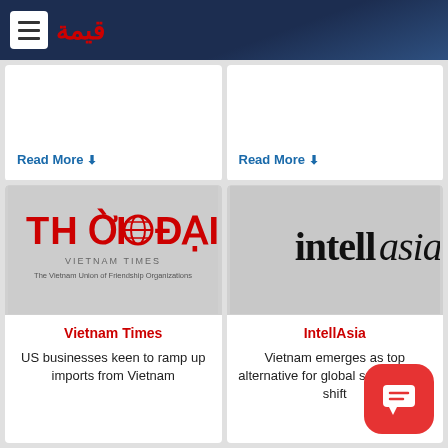[Figure (logo): Website header with hamburger menu icon and Arabic logo text in red on dark navy gradient background]
Read More ↓
Read More ↓
[Figure (logo): Thoi Dai (Vietnam Times) logo - red bold text with globe icon, subtitle 'VIETNAM TIMES - The Vietnam Union of Friendship Organizations']
Vietnam Times
US businesses keen to ramp up imports from Vietnam
[Figure (logo): IntellAsia logo - black serif/italic mixed text on light grey background]
IntellAsia
Vietnam emerges as top alternative for global supply chain shift